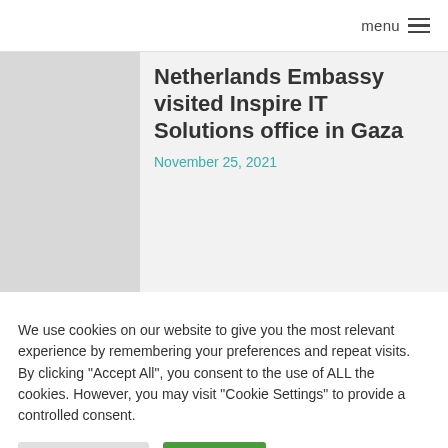menu
Netherlands Embassy visited Inspire IT Solutions office in Gaza
November 25, 2021
We use cookies on our website to give you the most relevant experience by remembering your preferences and repeat visits. By clicking "Accept All", you consent to the use of ALL the cookies. However, you may visit "Cookie Settings" to provide a controlled consent.
Cookie Settings
Accept All